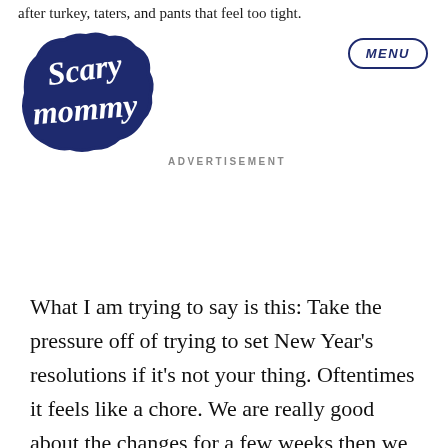after turkey, taters, and pants that feel too tight.
[Figure (logo): Scary Mommy logo in dark navy blue, a cloud-shaped badge with script lettering]
[Figure (other): MENU button in navy oval border]
ADVERTISEMENT
What I am trying to say is this: Take the pressure off of trying to set New Year’s resolutions if it’s not your thing. Oftentimes it feels like a chore. We are really good about the changes for a few weeks then we fizzle. What’s left is a guilt hangover, berating ourselves because we “can’t even stick to a resolution.”